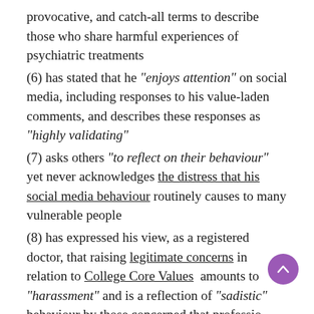provocative, and catch-all terms to describe those who share harmful experiences of psychiatric treatments (6) has stated that he "enjoys attention" on social media, including responses to his value-laden comments, and describes these responses as "highly validating" (7) asks others "to reflect on their behaviour" yet never acknowledges the distress that his social media behaviour routinely causes to many vulnerable people (8) has expressed his view, as a registered doctor, that raising legitimate concerns in relation to College Core Values amounts to "harassment" and is a reflection of "sadistic" behaviour by those concerned that professional values are not being followed